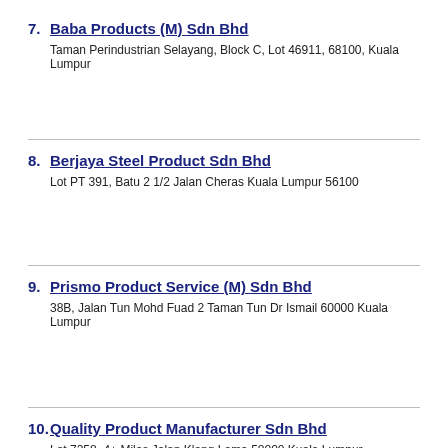7. Baba Products (M) Sdn Bhd
Taman Perindustrian Selayang, Block C, Lot 46911, 68100, Kuala Lumpur
8. Berjaya Steel Product Sdn Bhd
Lot PT 391, Batu 2 1/2 Jalan Cheras Kuala Lumpur 56100
9. Prismo Product Service (M) Sdn Bhd
38B, Jalan Tun Mohd Fuad 2 Taman Tun Dr Ismail 60000 Kuala Lumpur
10. Quality Product Manufacturer Sdn Bhd
Lot 7258, 4+ Miles Jalan Klang Lama 58000 Kuala Lumpur